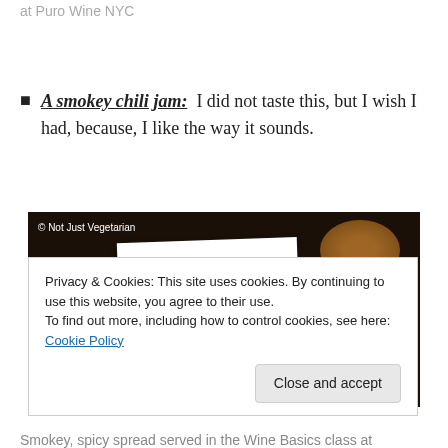at Puro Wine NYC
A smokey chili jam: I did not taste this, but I wish I had, because, I like the way it sounds.
[Figure (photo): A jar of smokey chili jam with a price tag showing $8.99, photographed at what appears to be a wine bar or market. Copyright notice reads '© Not Just Vegetarian'. The jar sits on a dark surface with a wooden bowl visible in the background.]
Privacy & Cookies: This site uses cookies. By continuing to use this website, you agree to their use.
To find out more, including how to control cookies, see here: Cookie Policy
Smokey, spicy spread served in the Wine Basics class at